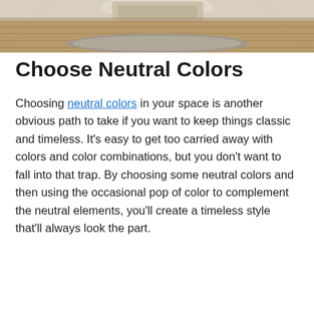[Figure (photo): Interior room photo showing a wooden floor, a rug, and what appears to be a couch or furniture piece, viewed from above/at an angle, with warm neutral tones.]
Choose Neutral Colors
Choosing neutral colors in your space is another obvious path to take if you want to keep things classic and timeless. It’s easy to get too carried away with colors and color combinations, but you don’t want to fall into that trap. By choosing some neutral colors and then using the occasional pop of color to complement the neutral elements, you’ll create a timeless style that’ll always look the part.